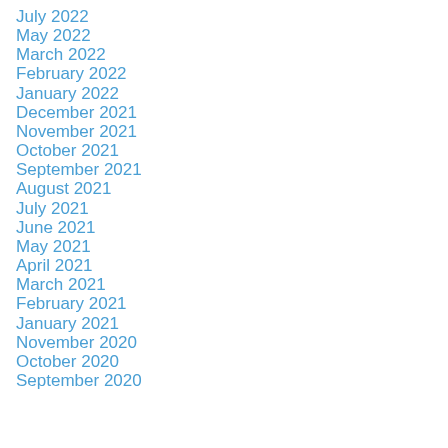July 2022
May 2022
March 2022
February 2022
January 2022
December 2021
November 2021
October 2021
September 2021
August 2021
July 2021
June 2021
May 2021
April 2021
March 2021
February 2021
January 2021
November 2020
October 2020
September 2020